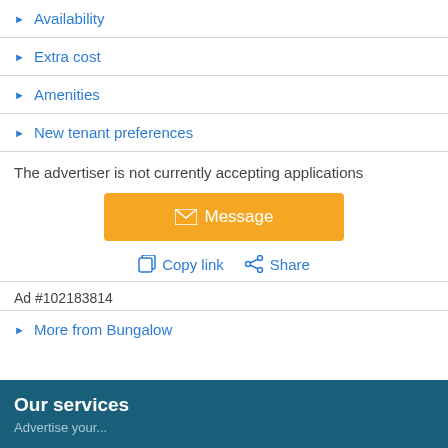▶ Availability
▶ Extra cost
▶ Amenities
▶ New tenant preferences
The advertiser is not currently accepting applications
[Figure (other): Orange Message button with envelope icon]
Copy link   Share
Ad #102183814
▶ More from Bungalow
Our services
Advertise your...